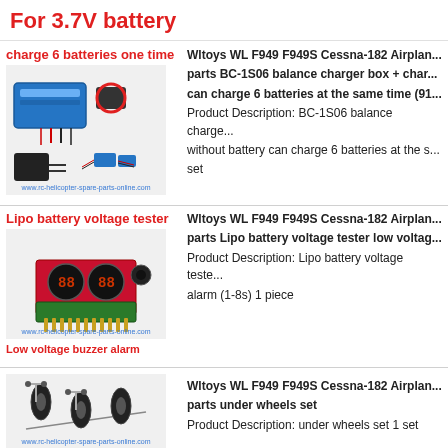For 3.7V battery
[Figure (photo): BC-1S06 balance charger box with cables and batteries, red circle highlighting connector]
charge 6 batteries one time
Wltoys WL F949 F949S Cessna-182 Airplane parts BC-1S06 balance charger box + charge can charge 6 batteries at the same time (91... Product Description: BC-1S06 balance charger without battery can charge 6 batteries at the s... set
[Figure (photo): Lipo battery voltage tester / low voltage buzzer alarm device with LED display and pins]
Lipo battery voltage tester
Wltoys WL F949 F949S Cessna-182 Airplane parts Lipo battery voltage tester low voltage... Product Description: Lipo battery voltage teste... alarm (1-8s) 1 piece
Low voltage buzzer alarm
[Figure (photo): Under wheels set for RC airplane, small black rubber wheels with metal axles]
Wltoys WL F949 F949S Cessna-182 Airplane parts under wheels set
Product Description: under wheels set 1 set